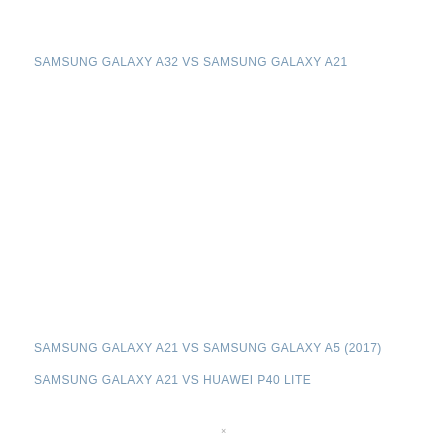SAMSUNG GALAXY A32 VS SAMSUNG GALAXY A21
SAMSUNG GALAXY A21 VS SAMSUNG GALAXY A5 (2017)
SAMSUNG GALAXY A21 VS HUAWEI P40 LITE
×